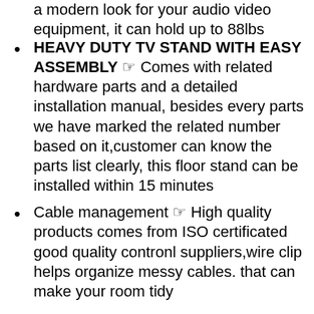a modern look for your audio video equipment, it can hold up to 88lbs
HEAVY DUTY TV STAND WITH EASY ASSEMBLY ☞ Comes with related hardware parts and a detailed installation manual, besides every parts we have marked the related number based on it,customer can know the parts list clearly, this floor stand can be installed within 15 minutes
Cable management ☞ High quality products comes from ISO certificated good quality contronl suppliers,wire clip helps organize messy cables. that can make your room tidy